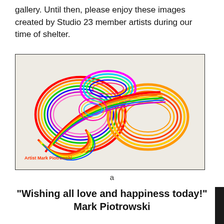gallery. Until then, please enjoy these images created by Studio 23 member artists during our time of shelter.
[Figure (illustration): Colorful swirling abstract line art forming cursive letters, with rainbow-colored looping bands on a light background. Text at bottom left reads 'Artist Mark Piotrowski' in orange-red.]
a
“Wishing all love and happiness today!” Mark Piotrowski